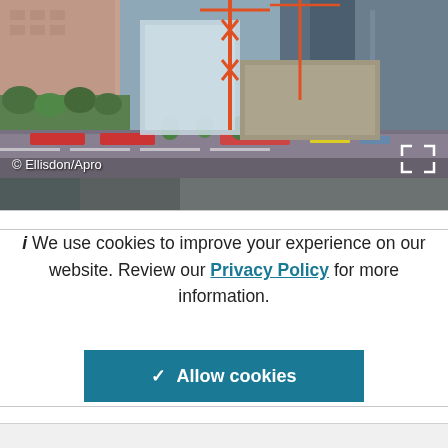[Figure (photo): Aerial view of an urban construction site with cranes, high-rise buildings, green trees lining a busy road, and construction work underway. Copyright credit © Ellisdon/Apro shown at bottom left.]
© Ellisdon/Apro
We use cookies to improve your experience on our website. Review our Privacy Policy for more information.
✓ Allow cookies